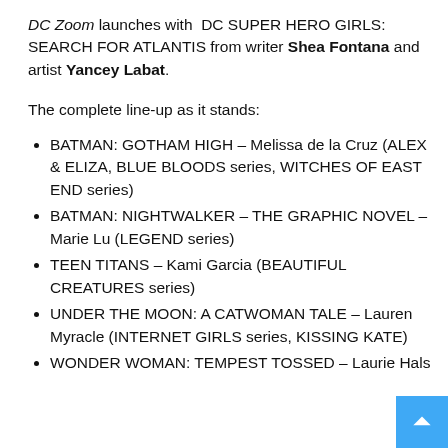DC Zoom launches with DC SUPER HERO GIRLS: SEARCH FOR ATLANTIS from writer Shea Fontana and artist Yancey Labat.
The complete line-up as it stands:
BATMAN: GOTHAM HIGH – Melissa de la Cruz (ALEX & ELIZA, BLUE BLOODS series, WITCHES OF EAST END series)
BATMAN: NIGHTWALKER – THE GRAPHIC NOVEL – Marie Lu (LEGEND series)
TEEN TITANS – Kami Garcia (BEAUTIFUL CREATURES series)
UNDER THE MOON: A CATWOMAN TALE – Lauren Myracle (INTERNET GIRLS series, KISSING KATE)
WONDER WOMAN: TEMPEST TOSSED – Laurie Hals…